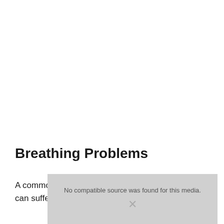Breathing Problems
[Figure (other): Video placeholder showing 'No compatible source was found for this media.' with an X mark overlay on a grey background showing blurred dogs]
A common characteristic of Frenchies is that they can suffer from breathing difficulties. There are